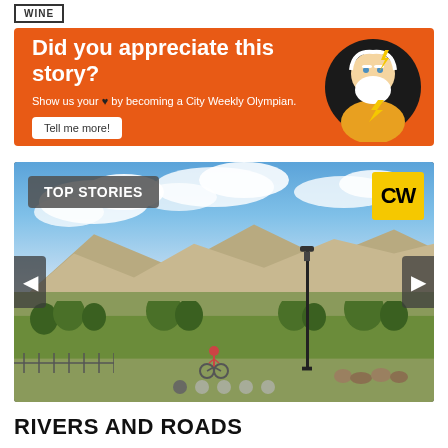WINE
[Figure (infographic): Orange promotional banner ad with white handwritten-style text reading 'Did you appreciate this story?' with subtext 'Show us your heart by becoming a City Weekly Olympian.' and a 'Tell me more!' button, plus an illustrated Zeus character on the right]
[Figure (photo): Outdoor scene showing mountains, blue sky with clouds, trees, a street lamp, and a cyclist in red on a path, with 'TOP STORIES' label overlay and yellow CW logo, navigation arrows, and carousel dots]
RIVERS AND ROADS